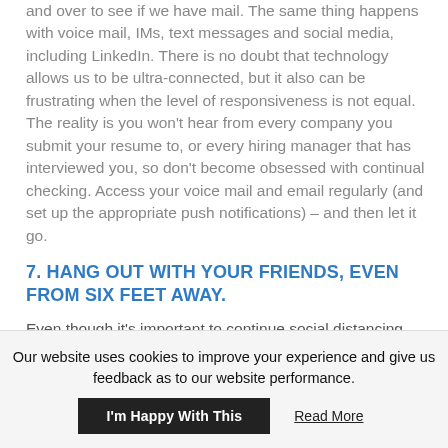and over to see if we have mail. The same thing happens with voice mail, IMs, text messages and social media, including LinkedIn. There is no doubt that technology allows us to be ultra-connected, but it also can be frustrating when the level of responsiveness is not equal. The reality is you won't hear from every company you submit your resume to, or every hiring manager that has interviewed you, so don't become obsessed with continual checking. Access your voice mail and email regularly (and set up the appropriate push notifications) – and then let it go.
7. HANG OUT WITH YOUR FRIENDS, EVEN FROM SIX FEET AWAY.
Even though it's important to continue social distancing, this is not the time to shy away from connecting with
Our website uses cookies to improve your experience and give us feedback as to our website performance.